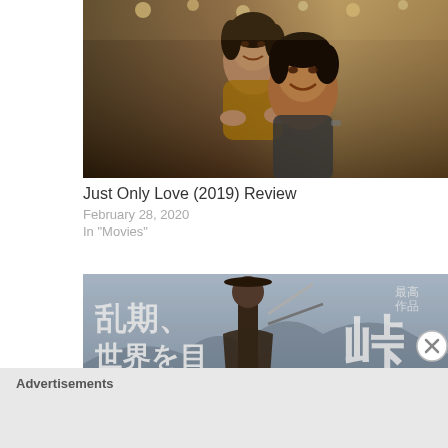[Figure (photo): Two people smiling, one person hugging the other from behind, indoor warmly lit setting]
Just Only Love (2019) Review
February 28, 2020
In "Movies"
[Figure (photo): Japanese movie poster with kanji text and a samurai figure, large Japanese characters visible]
Advertisements